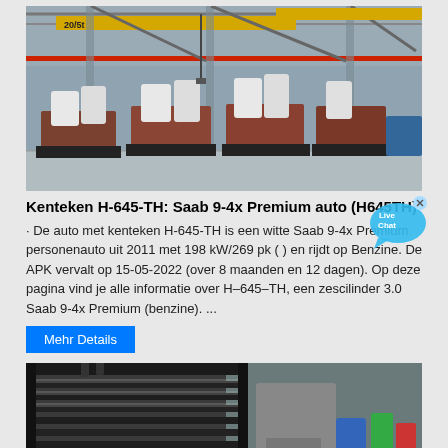[Figure (photo): Industrial factory interior with overhead crane labeled 20/5t, yellow beam structures, red pipe, large machinery on the floor with white cylindrical components on wheeled platforms.]
Kenteken H-645-TH: Saab 9-4x Premium auto (H645TH)
· De auto met kenteken H-645-TH is een witte Saab 9-4x Premium personenauto uit 2011 met 198 kW/269 pk ( ) en rijdt op Benzine. De APK vervalt op 15-05-2022 (over 8 maanden en 12 dagen). Op deze pagina vind je alle informatie over H–645–TH, een zescilinder 3.0 Saab 9-4x Premium (benzine). ...
Mehr Details
[Figure (photo): Close-up of industrial machinery or equipment, appears to be a large metal rack or roller structure, black metal frame with parallel horizontal bars/rollers, blue and green colored objects visible in the background.]